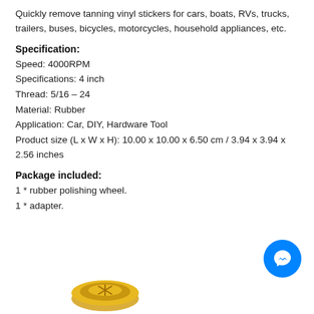Quickly remove tanning vinyl stickers for cars, boats, RVs, trucks, trailers, buses, bicycles, motorcycles, household appliances, etc.
Specification:
Speed: 4000RPM
Specifications: 4 inch
Thread: 5/16 – 24
Material: Rubber
Application: Car, DIY, Hardware Tool
Product size (L x W x H): 10.00 x 10.00 x 6.50 cm / 3.94 x 3.94 x 2.56 inches
Package included:
1 * rubber polishing wheel.
1 * adapter.
[Figure (illustration): Gold/yellow rubber polishing wheel product image at bottom of page]
[Figure (illustration): Blue circular Facebook Messenger chat button in bottom right corner]